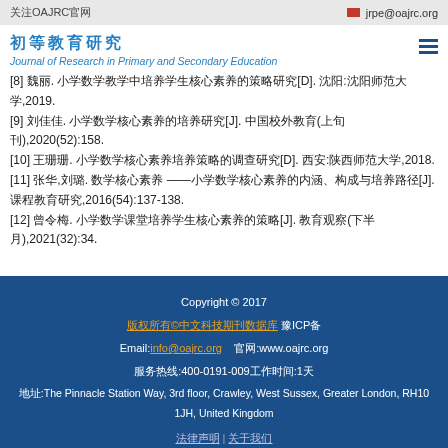关注OAJRC官网  ✉ jrpe@oajrc.org
初等教育研究
Journal of Research in Primary and Secondary Education
[8] 魏丽. 小学数学教学中培养学生核心素养的策略研究[D]. 沈阳:沈阳师范大学,2019.
[9] 刘佳佳. 小学数学核心素养的培养研究[J]. 中国校外教育(上旬刊),2020(52):158.
[10] 王珊珊. 小学数学核心素养培养策略的调查研究[D]. 西安:陕西师范大学,2018.
[11] 张华,张明. 数学核心素养 ——小学数学核心素养的内涵、构成与培养路径[J]. 课程教育研究,2016(54):137-138.
[12] 曾令梅. 小学数学课堂培养学生核心素养的策略[J]. 教育观察(下半月),2021(32):34.
Copyright © 2017
版权所有©中文科技期刊数据库 豫ICP备
Email:info@oajrc.org  官网:www.oajrc.org
服务热线:400-0191-009工作时间:1天
地址:The Pinnacle Station Way, 3rd floor, Crawley, West Sussex, Greater London, RH10 1JH, United Kingdom
法律声明 | 关于我们